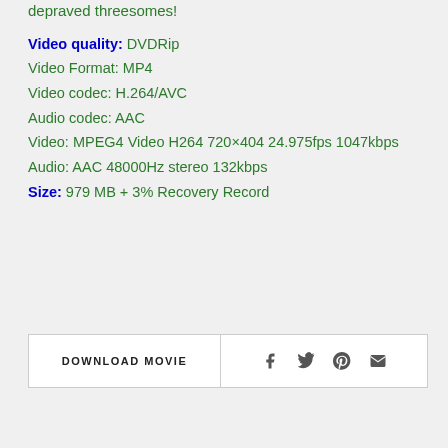depraved threesomes!
Video quality: DVDRip
Video Format: MP4
Video codec: H.264/AVC
Audio codec: AAC
Video: MPEG4 Video H264 720×404 24.975fps 1047kbps
Audio: AAC 48000Hz stereo 132kbps
Size: 979 MB + 3% Recovery Record